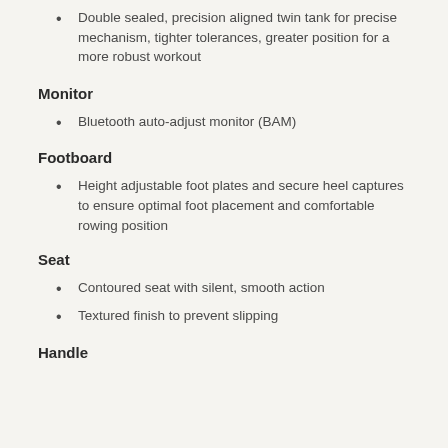Double sealed, precision aligned twin tank for precise mechanism, tighter tolerances, greater position for a more robust workout
Monitor
Bluetooth auto-adjust monitor (BAM)
Footboard
Height adjustable foot plates and secure heel captures to ensure optimal foot placement and comfortable rowing position
Seat
Contoured seat with silent, smooth action
Textured finish to prevent slipping
Handle